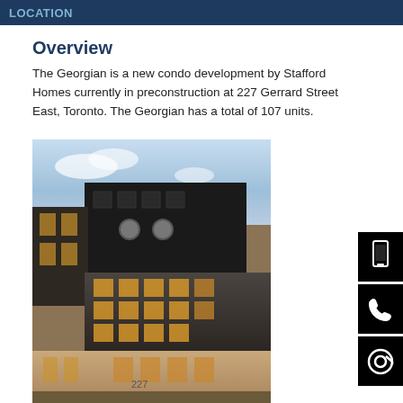LOCATION
Overview
The Georgian is a new condo development by Stafford Homes currently in preconstruction at 227 Gerrard Street East, Toronto. The Georgian has a total of 107 units.
[Figure (photo): Architectural rendering of The Georgian condo building at 227 Gerrard Street East, Toronto. Multi-storey modern building with dark upper floors, mid-section with large windows showing warm interior lighting, and tan/brick lower levels with the address number 227 visible.]
[Figure (infographic): Three black sidebar buttons with white icons: mobile phone icon, telephone handset icon, and @ email symbol.]